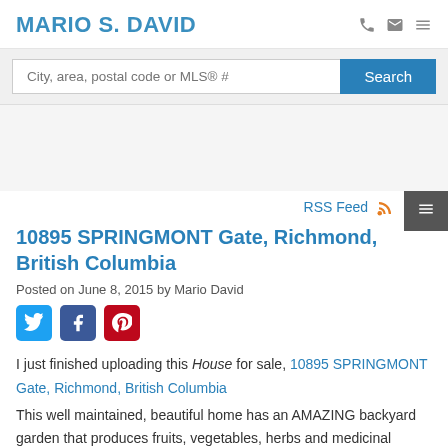MARIO S. DAVID
City, area, postal code or MLS® #
RSS Feed
10895 SPRINGMONT Gate, Richmond, British Columbia
Posted on June 8, 2015 by Mario David
I just finished uploading this House for sale, 10895 SPRINGMONT Gate, Richmond, British Columbia
This well maintained, beautiful home has an AMAZING backyard garden that produces fruits, vegetables, herbs and medicinal plants. A YouTube video is available that takes you on a detailed tour of this garden. The